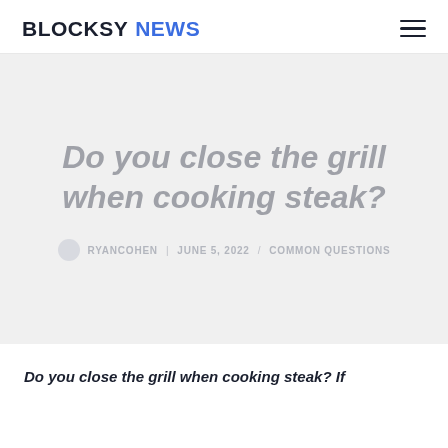BLOCKSY NEWS
Do you close the grill when cooking steak?
RYANCOHEN | JUNE 5, 2022 / COMMON QUESTIONS
Do you close the grill when cooking steak? If